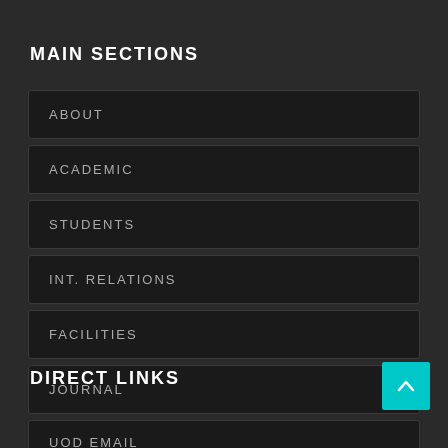MAIN SECTIONS
ABOUT
ACADEMIC
STUDENTS
INT. RELATIONS
FACILITIES
JOURNAL
DIRECT LINKS
UOD EMAIL